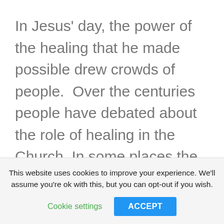In Jesus' day, the power of the healing that he made possible drew crowds of people.  Over the centuries people have debated about the role of healing in the Church. In some places the emphasis on healing has led to the provision of hospitals, health care centres and healing missions in different parts of the world.  Healing has been seen as embracing the whole person and the whole of creation.
This website uses cookies to improve your experience. We'll assume you're ok with this, but you can opt-out if you wish.
Cookie settings
ACCEPT